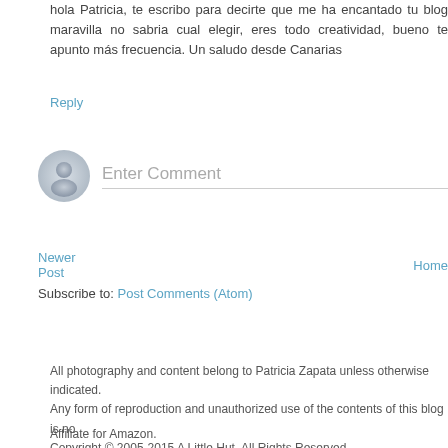hola Patricia, te escribo para decirte que me ha encantado tu blog maravilla no sabria cual elegir, eres todo creatividad, bueno te apunto más frecuencia. Un saludo desde Canarias
Reply
[Figure (illustration): Gray circular avatar/user icon placeholder]
Enter Comment
Newer Post
Home
Subscribe to: Post Comments (Atom)
All photography and content belong to Patricia Zapata unless otherwise indicated. Any form of reproduction and unauthorized use of the contents of this blog is not permitted. Copyright © 2005-2015 A Little Hut. All Rights Reserved.
Affiliate for Amazon.